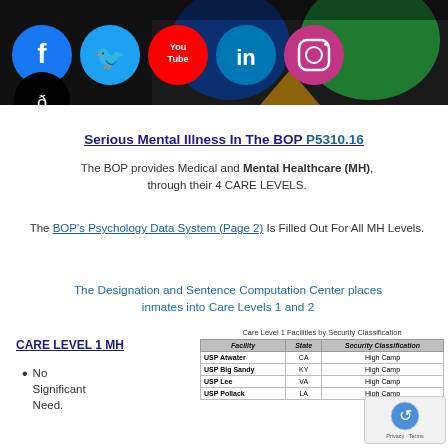[Figure (photo): A photo showing colorful neon-lit faces (blue and green), with social media icons overlaid on the left side: Facebook, Twitter, YouTube, LinkedIn, Instagram, and TikTok.]
Serious Mental Illness In The BOP P5310.16
The BOP provides Medical and Mental Healthcare (MH), through their 4 CARE LEVELS.
The BOP's Psychology Data System (Page 2) Is Filled Out For All MH Levels.
The Designation and Sentence Computation Center places inmates into Care Levels 1 and 2
CARE LEVEL 1 MH
No Significant Need.
Care Level 1 Facilities by Security Classification
| Facility | State | Security Classification |
| --- | --- | --- |
| USP Atwater | CA | High Camp |
| USP Big Sandy | KY | High Camp |
| USP Lee | VA | High Camp |
| USP Pollack | LA | High Camp |